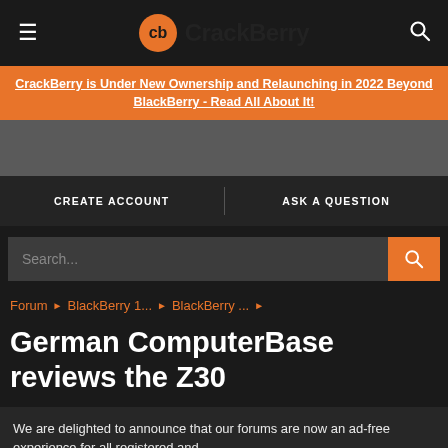CrackBerry
CrackBerry is Under New Ownership and Relaunching in 2022 Beyond BlackBerry - Read All About It!
CREATE ACCOUNT    ASK A QUESTION
Search...
Forum ▶ BlackBerry 1... ▶ BlackBerry ... ▶
German ComputerBase reviews the Z30
We are delighted to announce that our forums are now an ad-free experience for all registered and